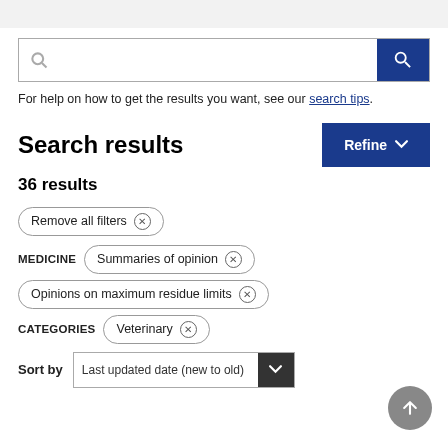For help on how to get the results you want, see our search tips.
Search results
36 results
Remove all filters ×
MEDICINE   Summaries of opinion ×
Opinions on maximum residue limits ×
CATEGORIES   Veterinary ×
Sort by   Last updated date (new to old)